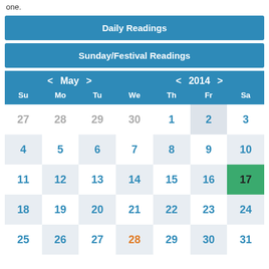one.
Daily Readings
Sunday/Festival Readings
[Figure (other): Calendar for May 2014 showing a monthly grid. Header shows '< May >' and '< 2014 >' navigation. Days of week: Su Mo Tu We Th Fr Sa. Dates shown: 27-30 (grayed, previous month), 1-31. May 17 is highlighted in green as today.]